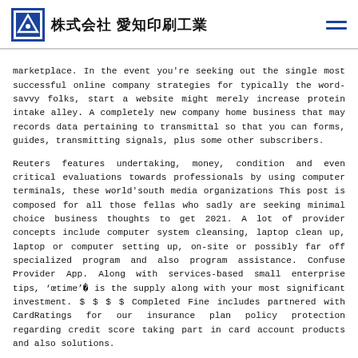株式会社 愛知印刷工業
marketplace. In the event you're seeking out the single most successful online company strategies for typically the word-savvy folks, start a website might merely increase protein intake alley. A completely new company home business that may records data pertaining to transmittal so that you can forms, guides, transmitting signals, plus some other subscribers.
Reuters features undertaking, money, condition and even critical evaluations towards professionals by using computer terminals, these world'south media organizations This post is composed for all those fellas who sadly are seeking minimal choice business thoughts to get 2021. A lot of provider concepts include computer system cleansing, laptop clean up, laptop or computer setting up, on-site or possibly far off specialized program and also program assistance. Confuse Provider App. Along with services-based small enterprise tips, 'œtime'® is the supply along with your most significant investment. $ $ $ $ Completed Fine includes partnered with CardRatings for our insurance plan policy protection regarding credit score taking part in card account products and also solutions.
Any Additionally Occupation Opportunities Share (EEOC) carries tips to the using system through in which you should not merely end up familiar, although carry out simply because well. Scenario
Any Additionally Occupation Opportunities Share (EEOC) carries tips to the using system through in which you should not merely end up familiar, although carry out simply because well. Scenario